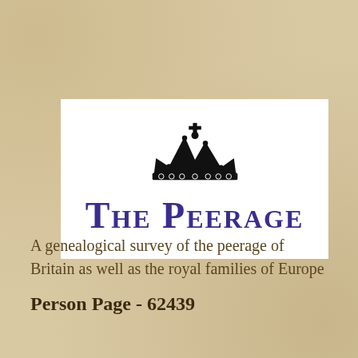[Figure (logo): The Peerage logo: black crown above large purple small-caps text 'The Peerage' on a white background]
A genealogical survey of the peerage of Britain as well as the royal families of Europe
Person Page - 62439